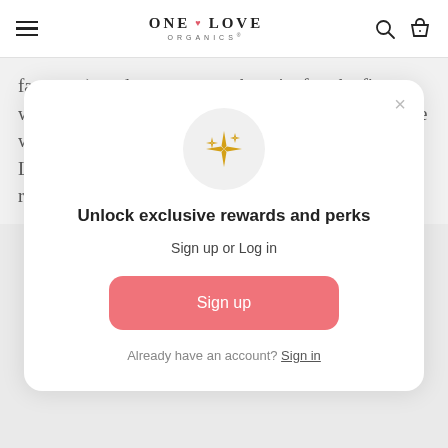ONE LOVE ORGANICS®
face care) made a comment about it after the first week of use. I now use it consistently as both my face wash and moisturizer, and couldn't be happier with it. Long term, results have stayed the same. Highly recommend!
[Figure (screenshot): Modal popup with sparkle icon in gray circle]
Unlock exclusive rewards and perks
Sign up or Log in
Sign up
Already have an account? Sign in